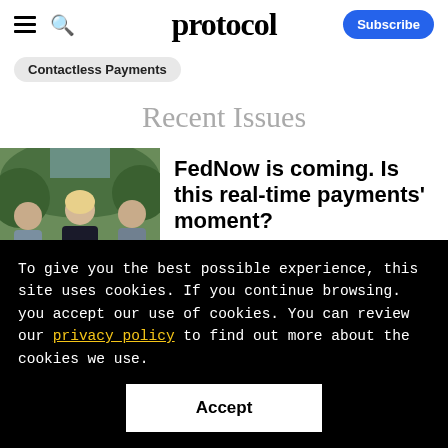protocol
Contactless Payments
Recent Issues
[Figure (photo): Three people standing outdoors, a blonde woman in the center flanked by two older men, in a wooded/garden setting.]
FedNow is coming. Is this real-time payments' moment?
To give you the best possible experience, this site uses cookies. If you continue browsing. you accept our use of cookies. You can review our privacy policy to find out more about the cookies we use.
Accept